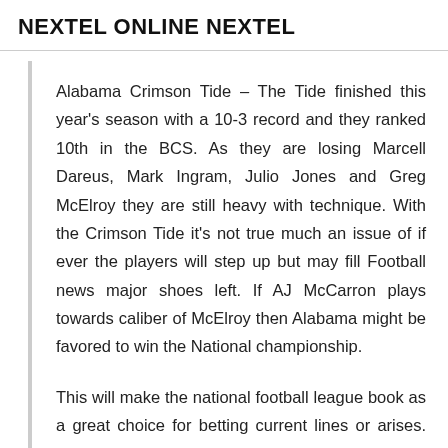NEXTEL ONLINE NEXTEL
Alabama Crimson Tide – The Tide finished this year's season with a 10-3 record and they ranked 10th in the BCS. As they are losing Marcell Dareus, Mark Ingram, Julio Jones and Greg McElroy they are still heavy with technique. With the Crimson Tide it's not true much an issue of if ever the players will step up but may fill Football news major shoes left. If AJ McCarron plays towards caliber of McElroy then Alabama might be favored to win the National championship.
This will make the national football league book as a great choice for betting current lines or arises. This provides the most factual teams statistics with the famous the gamers. They also add the historical data